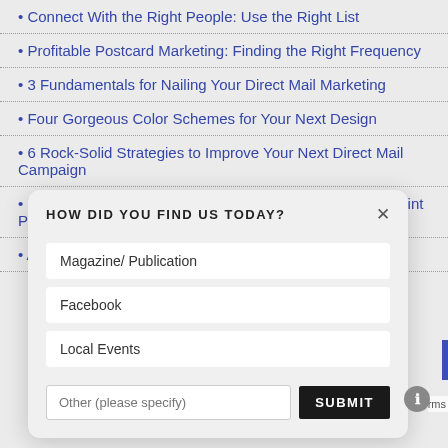Connect With the Right People: Use the Right List
Profitable Postcard Marketing: Finding the Right Frequency
3 Fundamentals for Nailing Your Direct Mail Marketing
Four Gorgeous Color Schemes for Your Next Design
6 Rock-Solid Strategies to Improve Your Next Direct Mail Campaign
Key Elements to Consider When Seeking an Excellent Print Partner
A Quick Glance at the History of Print
HOW DID YOU FIND US TODAY?
Magazine/ Publication
Facebook
Local Events
Other (please specify)
SUBMIT